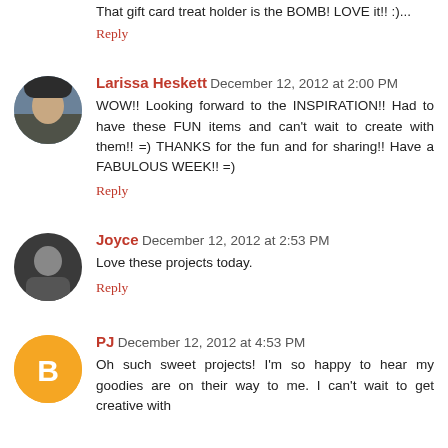That gift card treat holder is the BOMB! LOVE it!! :)...
Reply
Larissa Heskett December 12, 2012 at 2:00 PM
WOW!! Looking forward to the INSPIRATION!! Had to have these FUN items and can't wait to create with them!! =) THANKS for the fun and for sharing!! Have a FABULOUS WEEK!! =)
Reply
Joyce December 12, 2012 at 2:53 PM
Love these projects today.
Reply
PJ December 12, 2012 at 4:53 PM
Oh such sweet projects! I'm so happy to hear my goodies are on their way to me. I can't wait to get creative with them...